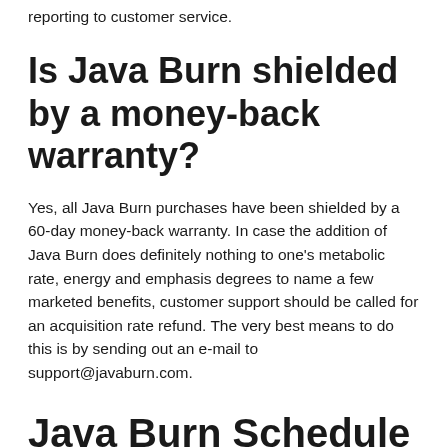reporting to customer service.
Is Java Burn shielded by a money-back warranty?
Yes, all Java Burn purchases have been shielded by a 60-day money-back warranty. In case the addition of Java Burn does definitely nothing to one's metabolic rate, energy and emphasis degrees to name a few marketed benefits, customer support should be called for an acquisition rate refund. The very best means to do this is by sending out an e-mail to support@javaburn.com.
Java Burn Schedule and also Pricing